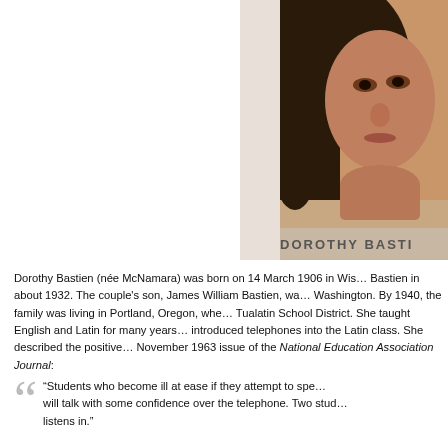[Figure (photo): Portrait photo of Dorothy Bastien with name label 'DOROTHY BASTI...' at bottom]
Dorothy Bastien (née McNamara) was born on 14 March 1906 in Wis... Bastien in about 1932. The couple's son, James William Bastien, wa... Washington. By 1940, the family was living in Portland, Oregon, whe... Tualatin School District. She taught English and Latin for many years... introduced telephones into the Latin class. She described the positive... November 1963 issue of the National Education Association Journal:
“Students who become ill at ease if they attempt to spe... will talk with some confidence over the telephone. Two stud... listens in.”